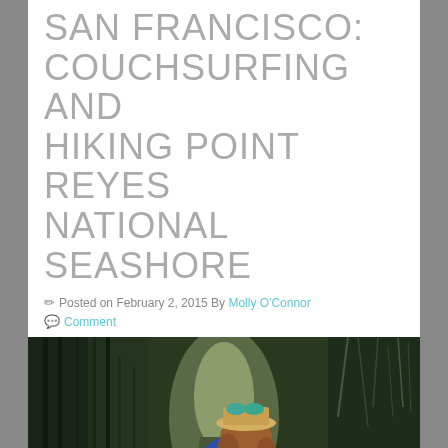SAN FRANCISCO: COUCHSURFING AND HIKING POINT REYES NATIONAL SEASHORE
Posted on February 2, 2015 By Molly O'Connor
Comment
[Figure (photo): Woman smiling on a forested trail at Point Reyes National Seashore, wearing a blue North Face jacket and a decorative hat with sunglasses]
On the Woodward Valley Trail at Point Reyes National